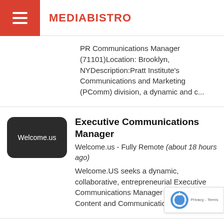MEDIABISTRO
PR Communications Manager (71101)Location: Brooklyn, NYDescription:Pratt Institute's Communications and Marketing (PComm) division, a dynamic and c...
Executive Communications Manager
Welcome.us - Fully Remote (about 18 hours ago)
Welcome.US seeks a dynamic, collaborative, entrepreneurial Executive Communications Manager to join the Content and Communications team.
Campaign Manager, Programma
GSTV - New York, NY USA (about 18...